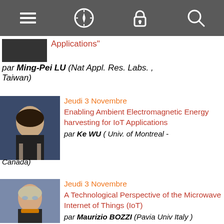[Figure (screenshot): Mobile app navigation bar with menu, compass, lock, and search icons on dark grey background]
Applications"
par Ming-Pei LU (Nat Appl. Res. Labs. , Taiwan)
[Figure (photo): Headshot of Asian male speaker in suit]
Jeudi 3 Novembre
Enabling Ambient Electromagnetic Energy harvesting for IoT Applications
par Ke WU ( Univ. of Montreal - Canada)
[Figure (photo): Headshot of male speaker with glasses and orange tie]
Jeudi 3 Novembre
A Technological Perspective of the Microwave Internet of Things (IoT)
par Maurizio BOZZI (Pavia Univ Italy )